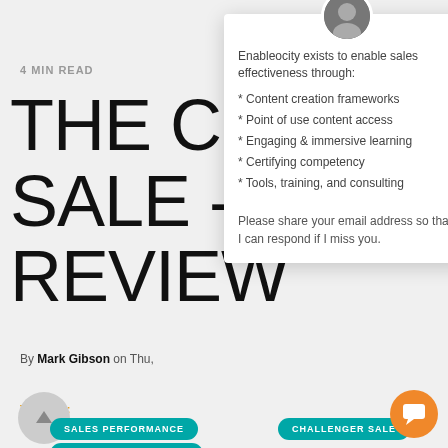4 MIN READ
THE CH SALE - R REVIEW
By Mark Gibson on Thu,
TOPICS:
SALES PERFORMANCE
CHALLENGER SALE
B2B SELLING PROCESS
[Figure (other): Popup chat widget with avatar photo of a man, close button (x), intro text, bullet list, and email request. Content: Enableocity exists to enable sales effectiveness through: * Content creation frameworks * Point of use content access * Engaging & immersive learning * Certifying competency * Tools, training, and consulting. Please share your email address so that I can respond if I miss you.]
[Figure (other): Orange circular chat button with speech bubble icon, bottom right corner]